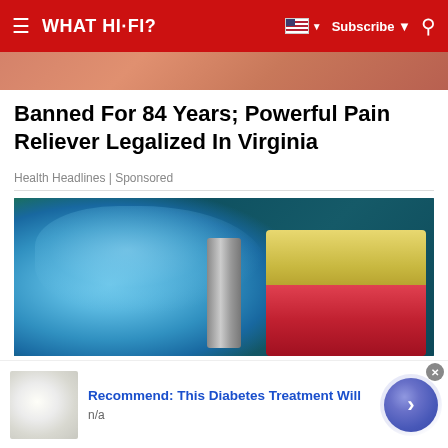WHAT HI-FI? | Subscribe
[Figure (photo): Top partial image strip showing warm-toned skin/face photo cropped at top]
Banned For 84 Years; Powerful Pain Reliever Legalized In Virginia
Health Headlines | Sponsored
[Figure (photo): Medical professional wearing blue latex gloves holding a dental implant screw next to a cross-section model of teeth and gums, against a dark teal surgical background]
[Figure (photo): Advertisement banner: thumbnail of white round pills/eggs, title 'Recommend: This Diabetes Treatment Will', subtitle 'n/a', with blue arrow CTA button]